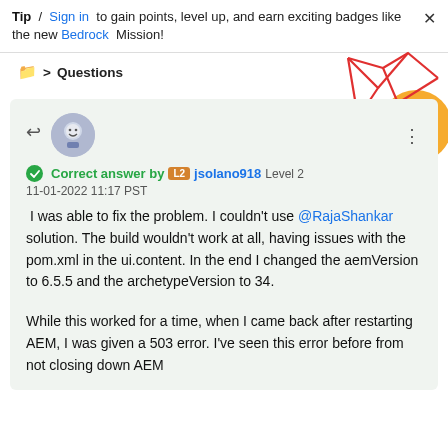Tip / Sign in to gain points, level up, and earn exciting badges like the new Bedrock Mission!
Questions
Correct answer by jsolano918 Level 2
11-01-2022 11:17 PST
I was able to fix the problem. I couldn't use @RajaShankar solution. The build wouldn't work at all, having issues with the pom.xml in the ui.content. In the end I changed the aemVersion to 6.5.5 and the archetypeVersion to 34.
While this worked for a time, when I came back after restarting AEM, I was given a 503 error. I've seen this error before from not closing down AEM